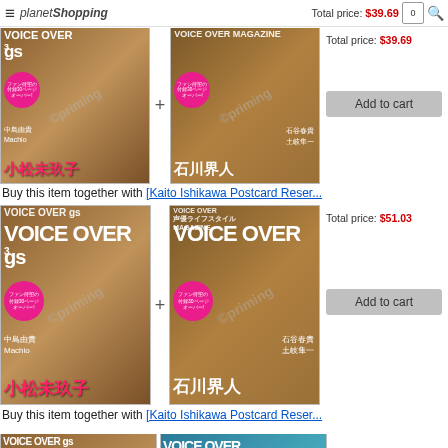planetShopping
Total price: $39.69
[Figure (photo): Two Japanese magazine covers (VOICE OVER gs) side by side with a plus sign between them. Left cover features a young woman, right cover features a young man with pink hair.]
Add to cart
Buy this item together with [Kaito Ishikawa Postcard Reser...
[Figure (photo): Two Japanese magazine covers (VOICE OVER gs) side by side with a plus sign between them. Left cover features a young woman, right cover features a young man with pink hair. Larger size.]
Total price: $51.03
Add to cart
Buy this item together with [Kaito Ishikawa Postcard Reser...